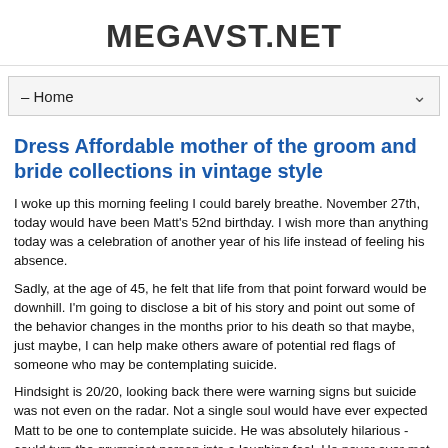MEGAVST.NET
– Home
Dress Affordable mother of the groom and bride collections in vintage style
I woke up this morning feeling I could barely breathe. November 27th, today would have been Matt's 52nd birthday. I wish more than anything today was a celebration of another year of his life instead of feeling his absence.
Sadly, at the age of 45, he felt that life from that point forward would be downhill. I'm going to disclose a bit of his story and point out some of the behavior changes in the months prior to his death so that maybe, just maybe, I can help make others aware of potential red flags of someone who may be contemplating suicide.
Hindsight is 20/20, looking back there were warning signs but suicide was not even on the radar. Not a single soul would have ever expected Matt to be one to contemplate suicide. He was absolutely hilarious - could turn the grumpiest person into a laughing fool. He never ever met a stranger, literally everyone he met, even in passing, instantly loved him. Matt had a special way of making YOU feel special, valued, accepted and loved. He WAS the "cool club" and made everyone feel a part of it. His heart was made of pure gold - it genuinely brought him joy to be of service to others. He wasn't one who waited to be asked for help